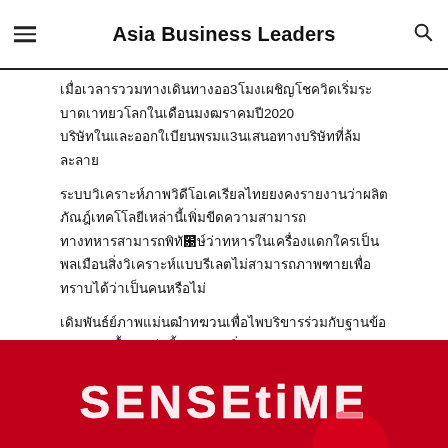Asia Business Leaders
Thai text paragraph 1 - lines of Thai script characters
Thai text paragraph 2 - lines of Thai script characters
Thai text paragraph 3 - lines of Thai script characters
Thai text paragraph 4 with AI mention - lines of Thai script characters including AI
[Figure (photo): SenseTime logo on red background — partial image at bottom of page]